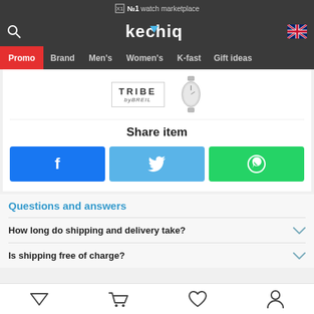№1 watch marketplace
[Figure (logo): Kechiq logo in white on dark background with UK flag icon and search icon]
Promo | Brand | Men's | Women's | K-fast | Gift ideas
[Figure (photo): Tribe by Breil brand logo and watch image]
Share item
[Figure (infographic): Share buttons: Facebook (blue), Twitter (light blue), WhatsApp (green)]
Questions and answers
How long do shipping and delivery take?
Is shipping free of charge?
Bottom navigation: filter, cart, wishlist, account